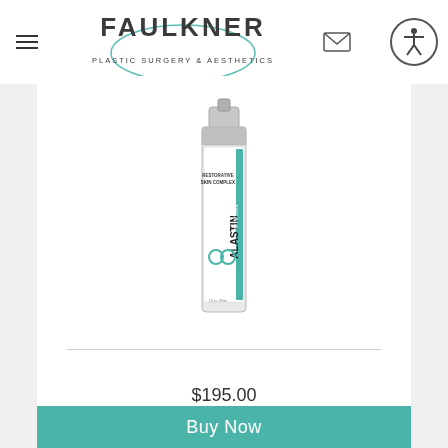Faulkner Plastic Surgery & Aesthetics
[Figure (photo): ALASTIN Skincare Restorative Skin Complex product bottle with teal and white label on white background]
$195.00
RESTORATIVE SKIN COMPLEX
WITH TRIHEX TECHNOLOGY
Buy Now